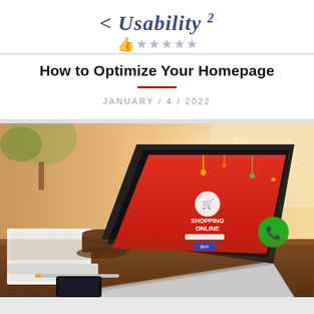[Figure (logo): Usability logo with italic text and five stars with a thumbs up icon]
How to Optimize Your Homepage
JANUARY / 4 / 2022
[Figure (photo): Photo of a laptop on a desk showing a red 'Shopping Online' e-commerce homepage, with a coffee cup, notebooks, and smartphone on the desk. A green phone/call button is visible on the laptop screen.]